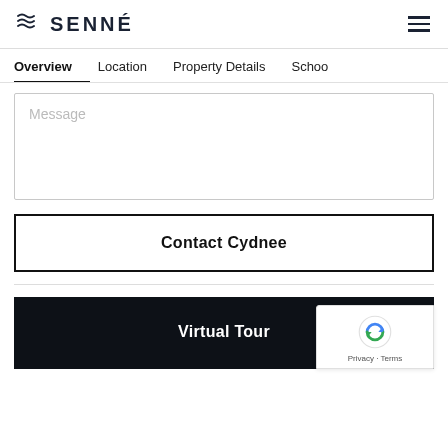SENNÉ
Overview   Location   Property Details   Schoo
Message
Contact Cydnee
Virtual Tour
Privacy · Terms